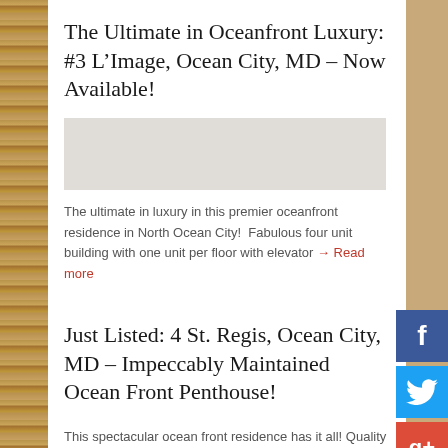The Ultimate in Oceanfront Luxury: #3 L’Image, Ocean City, MD – Now Available!
The ultimate in luxury in this premier oceanfront residence in North Ocean City!  Fabulous four unit building with one unit per floor with elevator → Read more
Just Listed: 4 St. Regis, Ocean City, MD – Impeccably Maintained Ocean Front Penthouse!
This spectacular ocean front residence has it all! Quality and fine details in this gorgeous home are second to none. This three bedroom, three and → Read more